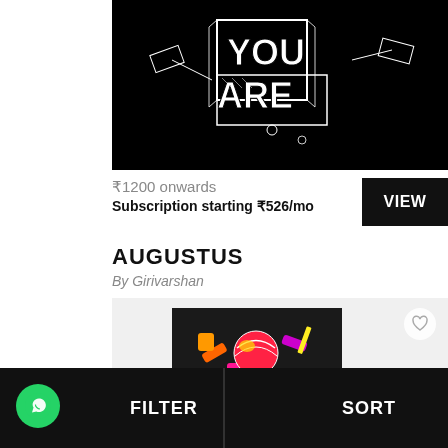[Figure (illustration): Black background with white 3D block lettering reading 'YOU ARE' with mechanical/satellite design elements]
₹1200 onwards
Subscription starting ₹526/mo
VIEW
AUGUSTUS
By Girivarshan
[Figure (photo): Colorful pop-art style image of a figure on dark background with pink, green, yellow and red colors]
FILTER
SORT